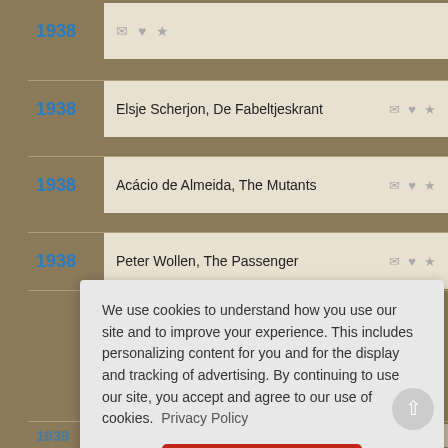1938 [icons]
1938 Elsje Scherjon, De Fabeltjeskrant
1938 Acácio de Almeida, The Mutants
1938 Peter Wollen, The Passenger
We use cookies to understand how you use our site and to improve your experience. This includes personalizing content for you and for the display and tracking of advertising. By continuing to use our site, you accept and agree to our use of cookies. Privacy Policy
Got it!
1939 [partial text] The Dear Chamber of Shaolin